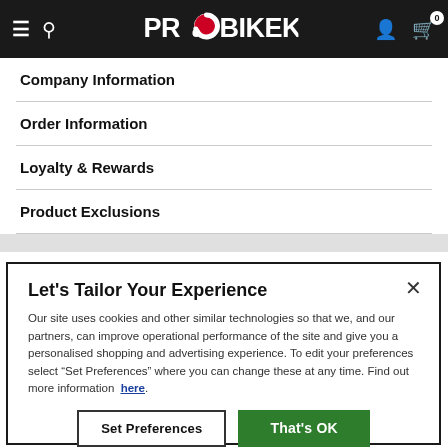PROBIKEKIT
Company Information
Order Information
Loyalty & Rewards
Product Exclusions
Let's Tailor Your Experience
Our site uses cookies and other similar technologies so that we, and our partners, can improve operational performance of the site and give you a personalised shopping and advertising experience. To edit your preferences select "Set Preferences" where you can change these at any time. Find out more information here.
Set Preferences | That's OK